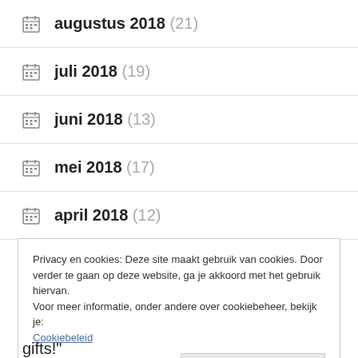augustus 2018 (21)
juli 2018 (19)
juni 2018 (13)
mei 2018 (17)
april 2018 (12)
Privacy en cookies: Deze site maakt gebruik van cookies. Door verder te gaan op deze website, ga je akkoord met het gebruik hiervan.
Voor meer informatie, onder andere over cookiebeheer, bekijk je:
Cookiebeleid
Sluiten en bevestigen
gifts!"